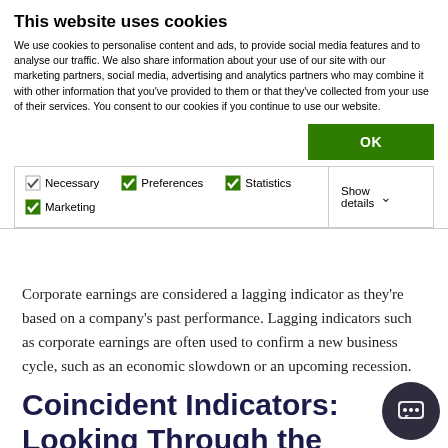This website uses cookies
We use cookies to personalise content and ads, to provide social media features and to analyse our traffic. We also share information about your use of our site with our marketing partners, social media, advertising and analytics partners who may combine it with other information that you've provided to them or that they've collected from your use of their services. You consent to our cookies if you continue to use our website.
OK
Necessary  Preferences  Statistics  Marketing  Show details
Corporate earnings are considered a lagging indicator as they're based on a company's past performance. Lagging indicators such as corporate earnings are often used to confirm a new business cycle, such as an economic slowdown or an upcoming recession.
Coincident Indicators: Looking Through the Side Window